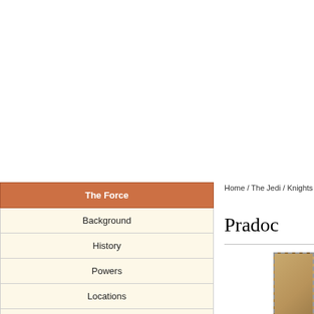Home / The Jedi / Knights of the Old Republic / O-S / Pradoc
Pradoc
The Force
Background
History
Powers
Locations
Technology
Species
Force Users
All Force Users
The Jedi
The Sith
Dark Jedi
Force Sects
[Figure (photo): Sepia-toned photo of a person with long blonde hair, partially visible, cropped at right edge of page]
*coming eventually*